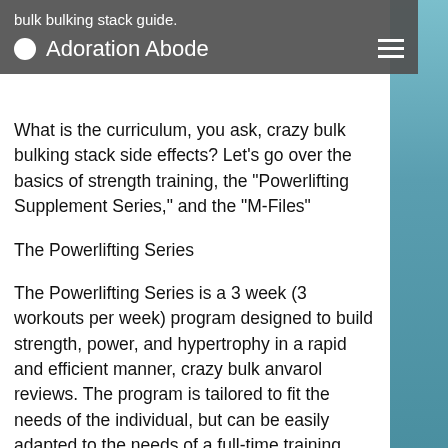bulk bulking stack guide.
Adoration Abode
What is the curriculum, you ask, crazy bulk bulking stack side effects? Let's go over the basics of strength training, the "Powerlifting Supplement Series," and the "M-Files"
The Powerlifting Series
The Powerlifting Series is a 3 week (3 workouts per week) program designed to build strength, power, and hypertrophy in a rapid and efficient manner, crazy bulk anvarol reviews. The program is tailored to fit the needs of the individual, but can be easily adapted to the needs of a full-time training schedule.
The M-Files Supplemental Materials
All three phases are packaged into one 6-